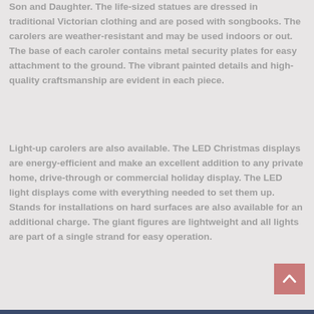Son and Daughter. The life-sized statues are dressed in traditional Victorian clothing and are posed with songbooks. The carolers are weather-resistant and may be used indoors or out. The base of each caroler contains metal security plates for easy attachment to the ground. The vibrant painted details and high-quality craftsmanship are evident in each piece.
Light-up carolers are also available. The LED Christmas displays are energy-efficient and make an excellent addition to any private home, drive-through or commercial holiday display. The LED light displays come with everything needed to set them up. Stands for installations on hard surfaces are also available for an additional charge. The giant figures are lightweight and all lights are part of a single strand for easy operation.